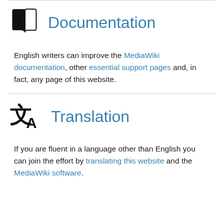Documentation
English writers can improve the MediaWiki documentation, other essential support pages and, in fact, any page of this website.
Translation
If you are fluent in a language other than English you can join the effort by translating this website and the MediaWiki software.